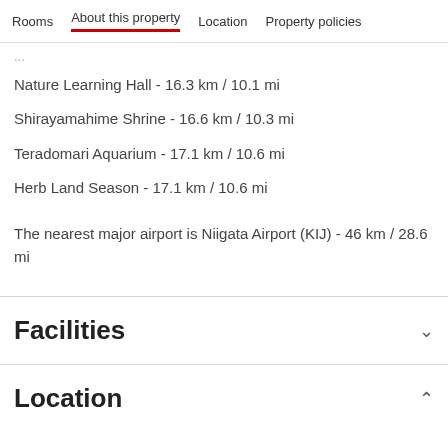Rooms  About this property  Location  Property policies
Nature Learning Hall - 16.3 km / 10.1 mi
Shirayamahime Shrine - 16.6 km / 10.3 mi
Teradomari Aquarium - 17.1 km / 10.6 mi
Herb Land Season - 17.1 km / 10.6 mi
The nearest major airport is Niigata Airport (KIJ) - 46 km / 28.6 mi
Facilities
Location